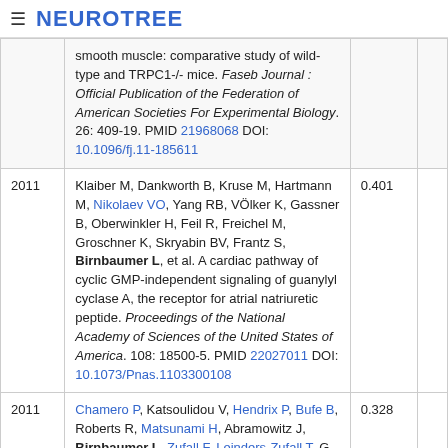≡ NEUROTREE
| Year | Reference | Score |  |
| --- | --- | --- | --- |
|  | smooth muscle: comparative study of wild-type and TRPC1-/- mice. Faseb Journal : Official Publication of the Federation of American Societies For Experimental Biology. 26: 409-19. PMID 21968068 DOI: 10.1096/fj.11-185611 |  |  |
| 2011 | Klaiber M, Dankworth B, Kruse M, Hartmann M, Nikolaev VO, Yang RB, Völker K, Gassner B, Oberwinkler H, Feil R, Freichel M, Groschner K, Skryabin BV, Frantz S, Birnbaumer L, et al. A cardiac pathway of cyclic GMP-independent signaling of guanylyl cyclase A, the receptor for atrial natriuretic peptide. Proceedings of the National Academy of Sciences of the United States of America. 108: 18500-5. PMID 22027011 DOI: 10.1073/Pnas.1103300108 | 0.401 |  |
| 2011 | Chamero P, Katsoulidou V, Hendrix P, Bufe B, Roberts R, Matsunami H, Abramowitz J, Birnbaumer L, Zufall F, Leinders-Zufall T. G protein G(alpha)o is essential for vomeronasal... | 0.328 |  |